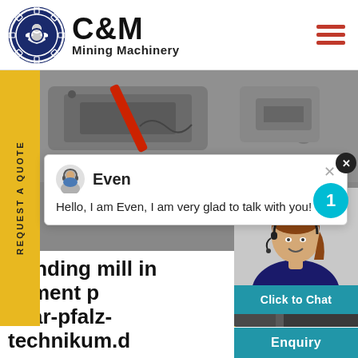[Figure (logo): C&M Mining Machinery logo with eagle/gear emblem in dark blue circle, company name in bold black text]
[Figure (photo): Industrial mining machinery close-up showing red tool/handle and metal parts]
[Figure (screenshot): Chat popup with avatar of 'Even' - Hello, I am Even, I am very glad to talk with you!]
[Figure (photo): Mining machinery with yellow components, bottom portion of equipment]
[Figure (photo): Female customer service agent with headset smiling]
REQUEST A QUOTE
grinding mill in cement p saar-pfalz-technikum.d
Click to Chat
Enquiry